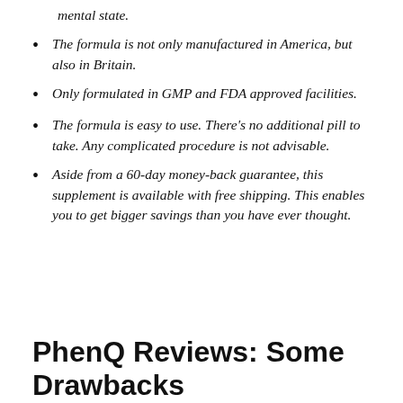mental state.
The formula is not only manufactured in America, but also in Britain.
Only formulated in GMP and FDA approved facilities.
The formula is easy to use. There's no additional pill to take. Any complicated procedure is not advisable.
Aside from a 60-day money-back guarantee, this supplement is available with free shipping. This enables you to get bigger savings than you have ever thought.
PhenQ Reviews: Some Drawbacks